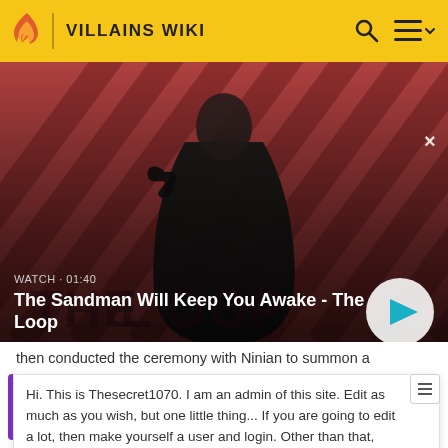VILLAINS WIKI
[Figure (screenshot): Video banner for 'The Sandman Will Keep You Awake - The Loop' showing a dark-cloaked figure with a raven on a red diagonal-striped background. Shows WATCH · 01:40 label and a play button.]
then conducted the ceremony with Ninian to summon a dragon. However, Nile's interference caused the drag...
Hi. This is Thesecret1070. I am an admin of this site. Edit as much as you wish, but one little thing... If you are going to edit a lot, then make yourself a user and login. Other than that, enjoy Villains Wiki!!!